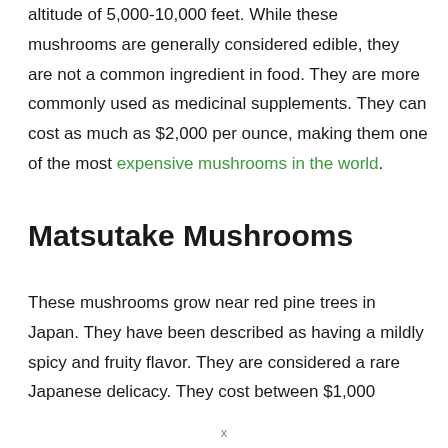altitude of 5,000-10,000 feet. While these mushrooms are generally considered edible, they are not a common ingredient in food. They are more commonly used as medicinal supplements. They can cost as much as $2,000 per ounce, making them one of the most expensive mushrooms in the world.
Matsutake Mushrooms
These mushrooms grow near red pine trees in Japan. They have been described as having a mildly spicy and fruity flavor. They are considered a rare Japanese delicacy. They cost between $1,000
x